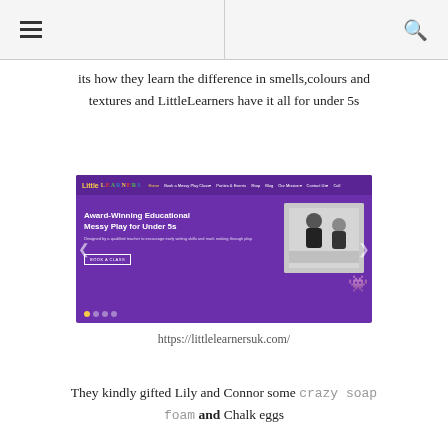☰ [hamburger menu] | [search icon]
its how they learn the difference in smells,colours and textures and LittleLearners have it all for under 5s
[Figure (screenshot): Screenshot of LittleLearners website (littlelearnersuk.com) showing the homepage with purple background, navigation bar, and headline: 'Award-Winning Educational Messy Play for Under 5s' with a photo of children doing messy play and a green monster character.]
https://littlelearnersuk.com/
They kindly gifted Lily and Connor some crazy soap foam and Chalk eggs